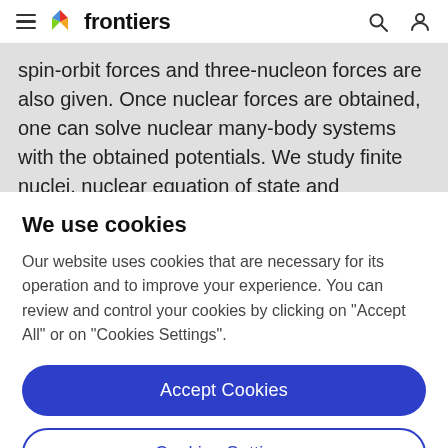frontiers
spin-orbit forces and three-nucleon forces are also given. Once nuclear forces are obtained, one can solve nuclear many-body systems with the obtained potentials. We study finite nuclei, nuclear equation of state and
We use cookies
Our website uses cookies that are necessary for its operation and to improve your experience. You can review and control your cookies by clicking on "Accept All" or on "Cookies Settings".
Accept Cookies
Cookies Settings